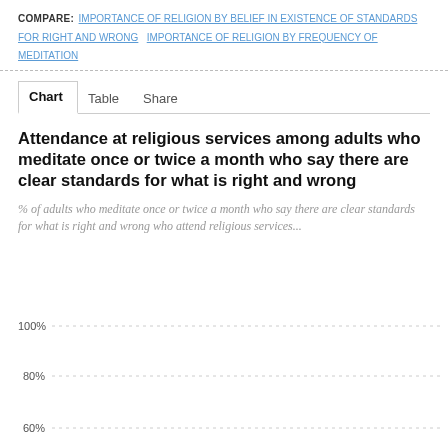COMPARE: IMPORTANCE OF RELIGION BY BELIEF IN EXISTENCE OF STANDARDS FOR RIGHT AND WRONG   IMPORTANCE OF RELIGION BY FREQUENCY OF MEDITATION
Chart | Table | Share
Attendance at religious services among adults who meditate once or twice a month who say there are clear standards for what is right and wrong
% of adults who meditate once or twice a month who say there are clear standards for what is right and wrong who attend religious services...
[Figure (continuous-plot): Partial bar/line chart showing y-axis gridlines at 100%, 80%, and 60%. Chart content is cut off at bottom of page.]